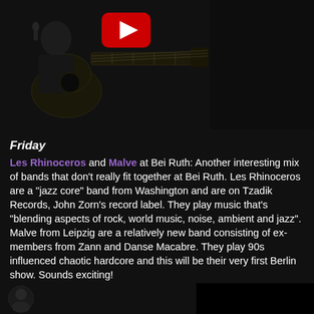[Figure (screenshot): YouTube video thumbnail showing a person playing acoustic guitar on a dark stage, with a YouTube play button overlay in the top center]
Friday
Les Rhinoceros and Malve at Bei Ruth: Another interesting mix of bands that don't really fit together at Bei Ruth. Les Rhinoceros are a "jazz core" band from Washington and are on Tzadik Records, John Zorn's record label. They play music that's "blending aspects of rock, world music, noise, ambient and jazz". Malve from Leipzig are a relatively new band consisting of ex-members from Zann and Danse Macabre. They play 90s influenced chaotic hardcore and this will be their very first Berlin show. Sounds exciting! The Babies at Monarch: Fluffy Lo-Fi indie rock on Woodsist records with people from Woods themselves and Vivian Girls. Yum yum yum and one to not miss!
[Figure (screenshot): Partial bottom image strip, dark background]